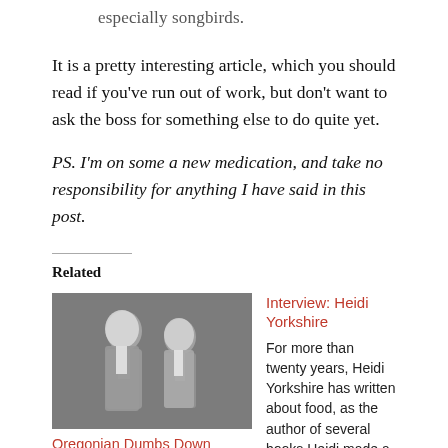especially songbirds.
It is a pretty interesting article, which you should read if you've run out of work, but don't want to ask the boss for something else to do quite yet.
PS. I'm on some a new medication, and take no responsibility for anything I have said in this post.
Related
[Figure (photo): Black and white photo of two men in formal attire]
Oregonian Dumbs Down Newspaper
In "Portland Food and Restaurant News and…
Interview: Heidi Yorkshire
For more than twenty years, Heidi Yorkshire has written about food, as the author of several books Heidi made a name for
In "Interviews: Honest dialog with people in the…